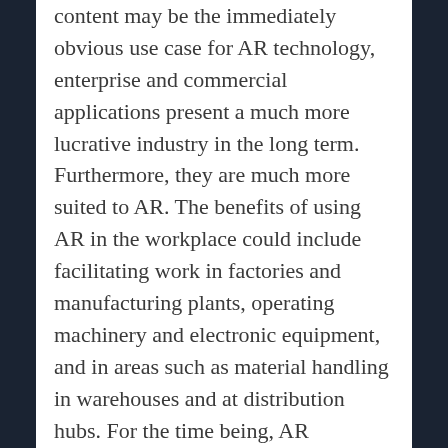content may be the immediately obvious use case for AR technology, enterprise and commercial applications present a much more lucrative industry in the long term. Furthermore, they are much more suited to AR. The benefits of using AR in the workplace could include facilitating work in factories and manufacturing plants, operating machinery and electronic equipment, and in areas such as material handling in warehouses and at distribution hubs. For the time being, AR hardware is too cost prohibitive for mass consumption. While VR headsets are slightly better, they're still too expensive for most